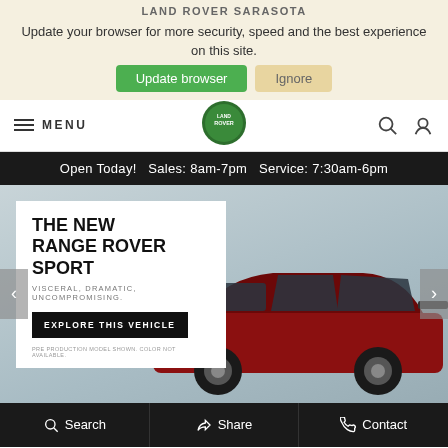LAND ROVER SARASOTA
Update your browser for more security, speed and the best experience on this site.
Update browser | Ignore
MENU
Open Today!   Sales: 8am-7pm   Service: 7:30am-6pm
THE NEW RANGE ROVER SPORT
VISCERAL, DRAMATIC, UNCOMPROMISING.
EXPLORE THIS VEHICLE
PRE PRODUCTION MODEL SHOWN. COLOR NOT AVAILABLE.
[Figure (photo): Red Range Rover Sport SUV on a grey sky background]
Search   Share   Contact